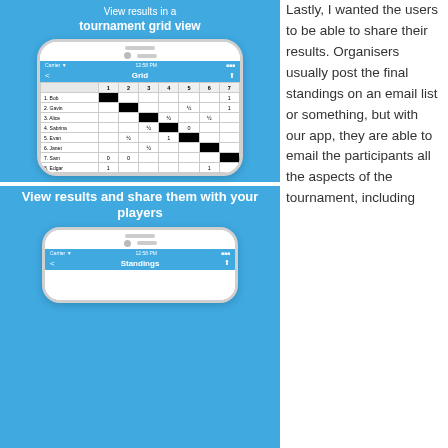[Figure (screenshot): Screenshot of tournament grid view app interface on white iPhone mockup with blue background panel. Shows a grid table with players: 1. Bob, 2. Gavin, 3. Alice, 4. Sabrina, 5. Evan, 6. Janet, 7. Sam, 8. Edgar and their match results.]
View results in a tournament grid view
Lastly, I wanted the users to be able to share their results. Organisers usually post the final standings on an email list or something, but with our app, they are able to email the participants all the aspects of the tournament, including
[Figure (screenshot): Screenshot of app standings view on white iPhone mockup with blue background panel showing 'View results and share them with your players' caption.]
View results and share them with your players